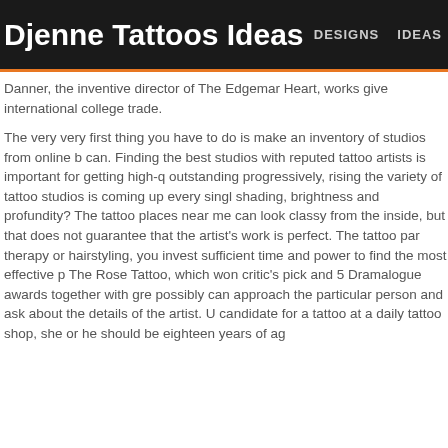Djenne Tattoos Ideas | DESIGNS | IDEAS
Danner, the inventive director of The Edgemar Heart, works give international college trade.
The very very first thing you have to do is make an inventory of studios from online b can. Finding the best studios with reputed tattoo artists is important for getting high-q outstanding progressively, rising the variety of tattoo studios is coming up every singl shading, brightness and profundity? The tattoo places near me can look classy from the inside, but that does not guarantee that the artist's work is perfect. The tattoo par therapy or hairstyling, you invest sufficient time and power to find the most effective p The Rose Tattoo, which won critic's pick and 5 Dramalogue awards together with gre possibly can approach the particular person and ask about the details of the artist. U candidate for a tattoo at a daily tattoo shop, she or he should be eighteen years of ag